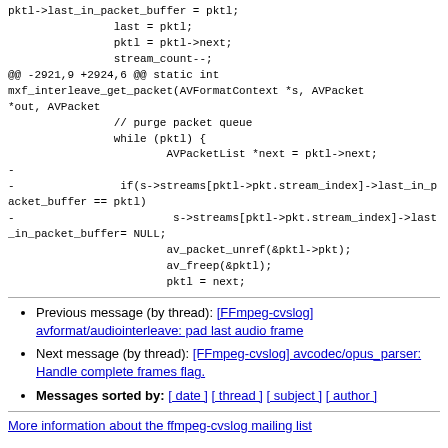pktl->last_in_packet_buffer = pktl;
                last = pktl;
                pktl = pktl->next;
                stream_count--;
@@ -2921,9 +2924,6 @@ static int mxf_interleave_get_packet(AVFormatContext *s, AVPacket *out, AVPacket
                // purge packet queue
                while (pktl) {
                        AVPacketList *next = pktl->next;
-
-                if(s->streams[pktl->pkt.stream_index]->last_in_packet_buffer == pktl)
-                        s->streams[pktl->pkt.stream_index]->last_in_packet_buffer= NULL;
                        av_packet_unref(&pktl->pkt);
                        av_freep(&pktl);
                        pktl = next;
Previous message (by thread): [FFmpeg-cvslog] avformat/audiointerleave: pad last audio frame
Next message (by thread): [FFmpeg-cvslog] avcodec/opus_parser: Handle complete frames flag.
Messages sorted by: [ date ] [ thread ] [ subject ] [ author ]
More information about the ffmpeg-cvslog mailing list